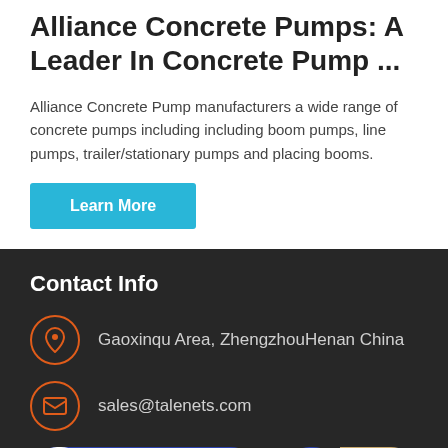Alliance Concrete Pumps: A Leader In Concrete Pump ...
Alliance Concrete Pump manufacturers a wide range of concrete pumps including including boom pumps, line pumps, trailer/stationary pumps and placing booms.
Learn More
Contact Info
Gaoxinqu Area, ZhengzhouHenan China
sales@talenets.com
Send Message
Inquiry Online